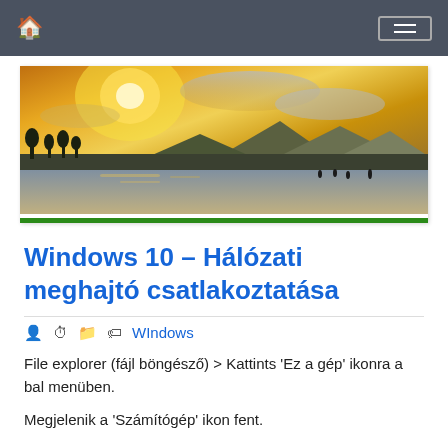Navigation bar with home icon and menu button
[Figure (photo): Landscape photo showing a beach/lake scene at sunset with golden light, silhouettes of trees and mountains in the background, and people near the water's edge. A green bar appears at the bottom of the image.]
Windows 10 – Hálózati meghajtó csatlakoztatása
WIndows
File explorer (fájl böngésző) > Kattints 'Ez a gép' ikonra a bal menüben.
Megjelenik a 'Számítógép' ikon fent.